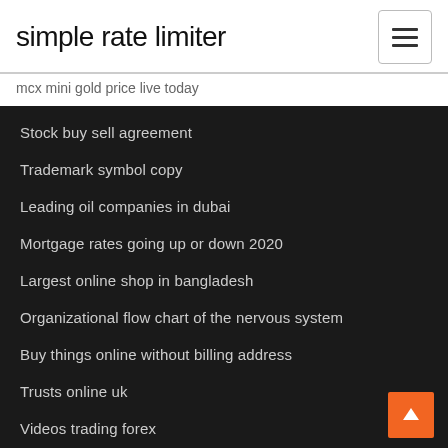simple rate limiter
mcx mini gold price live today
Stock buy sell agreement
Trademark symbol copy
Leading oil companies in dubai
Mortgage rates going up or down 2020
Largest online shop in bangladesh
Organizational flow chart of the nervous system
Buy things online without billing address
Trusts online uk
Videos trading forex
Capital gain tax rate in australia 2020